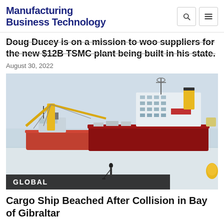Manufacturing Business Technology
Doug Ducey is on a mission to woo suppliers for the new $12B TSMC plant being built in his state.
August 30, 2022
[Figure (photo): A large cargo ship with yellow cranes and a tugboat in a harbor, with a person paddleboarding in the foreground on calm water. A GLOBAL badge appears at the bottom left of the image.]
Cargo Ship Beached After Collision in Bay of Gibraltar